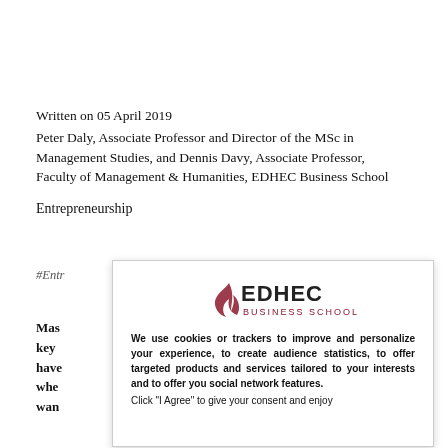Written on 05 April 2019
Peter Daly, Associate Professor and Director of the MSc in Management Studies, and Dennis Davy, Associate Professor, Faculty of Management & Humanities, EDHEC Business School
Entrepreneurship
#Entr
[Figure (logo): EDHEC Business School logo with stylized 'A' symbol in dark red and text 'EDHEC BUSINESS SCHOOL']
We use cookies or trackers to improve and personalize your experience, to create audience statistics, to offer targeted products and services tailored to your interests and to offer you social network features.

Click "I Agree" to give your consent and enjoy
Mas[tering] is a key [skill for entrepreneurs] who have [learned from examples] whe[n you] you wan[t to grow]